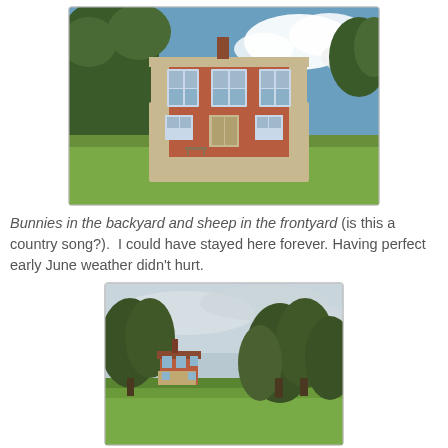[Figure (photo): A red-brick Georgian-style country house with stone base, set on a green lawn under a blue sky with white clouds. Trees in background. A bench or chairs visible near the house.]
Bunnies in the backyard and sheep in the frontyard (is this a country song?).  I could have stayed here forever. Having perfect early June weather didn't hurt.
[Figure (photo): Wide-angle view of green parkland with a small red-brick country house visible on the left side, surrounded by large mature trees under an overcast sky.]